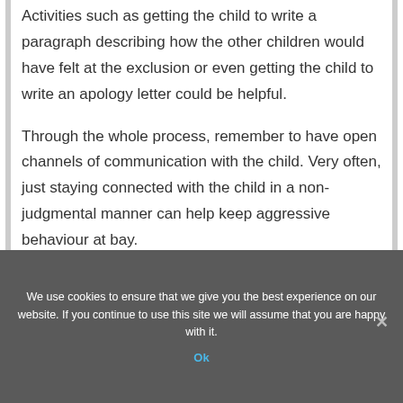Activities such as getting the child to write a paragraph describing how the other children would have felt at the exclusion or even getting the child to write an apology letter could be helpful.
Through the whole process, remember to have open channels of communication with the child. Very often, just staying connected with the child in a non-judgmental manner can help keep aggressive behaviour at bay.
We use cookies to ensure that we give you the best experience on our website. If you continue to use this site we will assume that you are happy with it.